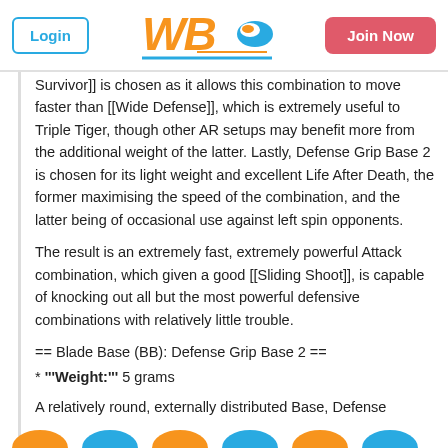Login | WBO Logo | Join Now
Survivor]] is chosen as it allows this combination to move faster than [[Wide Defense]], which is extremely useful to Triple Tiger, though other AR setups may benefit more from the additional weight of the latter. Lastly, Defense Grip Base 2 is chosen for its light weight and excellent Life After Death, the former maximising the speed of the combination, and the latter being of occasional use against left spin opponents.
The result is an extremely fast, extremely powerful Attack combination, which given a good [[Sliding Shoot]], is capable of knocking out all but the most powerful defensive combinations with relatively little trouble.
== Blade Base (BB): Defense Grip Base 2 ==
* '''Weight:''' 5 grams
A relatively round, externally distributed Base, Defense